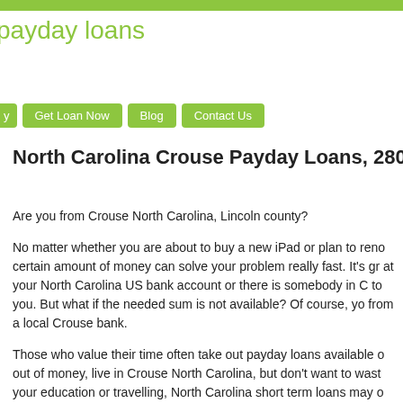payday loans
y  Get Loan Now  Blog  Contact Us
North Carolina Crouse Payday Loans, 28033 Z
Are you from Crouse North Carolina, Lincoln county?
No matter whether you are about to buy a new iPad or plan to reno... certain amount of money can solve your problem really fast. It's gr... at your North Carolina US bank account or there is somebody in C... to you. But what if the needed sum is not available? Of course, yo... from a local Crouse bank.
Those who value their time often take out payday loans available o... out of money, live in Crouse North Carolina, but don't want to wast... your education or travelling, North Carolina short term loans may o...